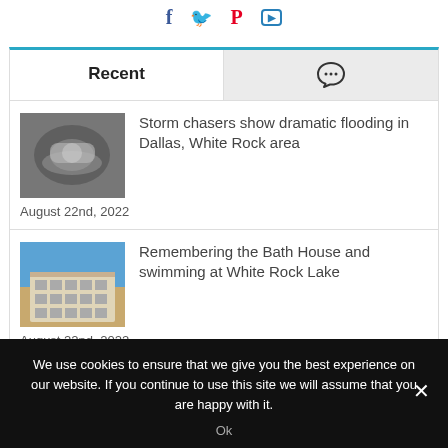[Figure (other): Social media icons: Facebook (blue f), Twitter (blue bird), Pinterest (red P), YouTube (blue rectangle logo)]
Recent
[Figure (other): Comment/chat bubble icon for comments tab]
[Figure (photo): Thumbnail of storm flooding with a submerged car in swirling water]
Storm chasers show dramatic flooding in Dallas, White Rock area
August 22nd, 2022
[Figure (photo): Thumbnail of the Bath House building at White Rock Lake with blue sky]
Remembering the Bath House and swimming at White Rock Lake
August 22nd, 2022
We use cookies to ensure that we give you the best experience on our website. If you continue to use this site we will assume that you are happy with it.
Ok